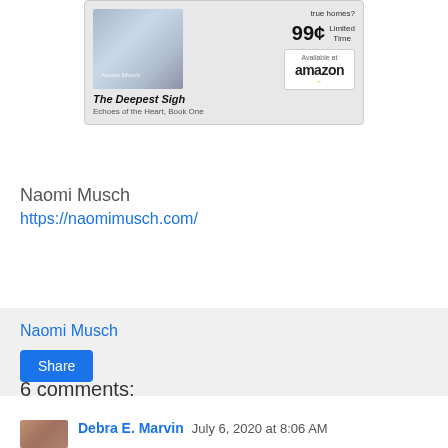[Figure (advertisement): Book advertisement for 'The Deepest Sigh, Echoes of the Heart, Book One' by Naomi Musch. Shows book cover image, 99¢ Limited Time price, and Available at Amazon button.]
Naomi Musch
https://naomimusch.com/
Naomi Musch
Share
6 comments:
Debra E. Marvin  July 6, 2020 at 8:06 AM